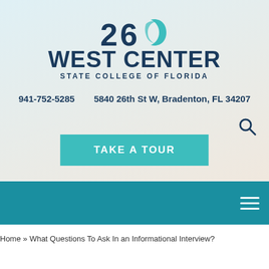[Figure (logo): 26 West Center State College of Florida logo with teal wave/crescent graphic next to number 26]
941-752-5285     5840 26th St W, Bradenton, FL 34207
TAKE A TOUR
Home » What Questions To Ask In an Informational Interview?